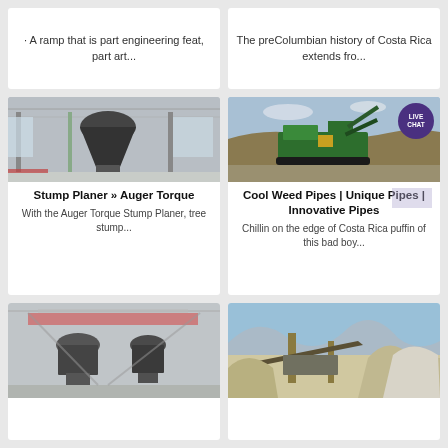· A ramp that is part engineering feat, part art...
The preColumbian history of Costa Rica extends fro...
[Figure (photo): Industrial facility interior with large machinery/cone crusher]
[Figure (photo): Outdoor quarry/mining equipment - green mobile crushing plant on hillside, with LIVE CHAT badge overlay]
Stump Planer » Auger Torque
With the Auger Torque Stump Planer, tree stump...
Cool Weed Pipes | Unique Pipes | Innovative Pipes
Chillin on the edge of Costa Rica puffin of this bad boy...
[Figure (photo): Industrial facility with large vertical mill machinery]
[Figure (photo): Outdoor quarry/mining conveyor belt system with stockpiles]